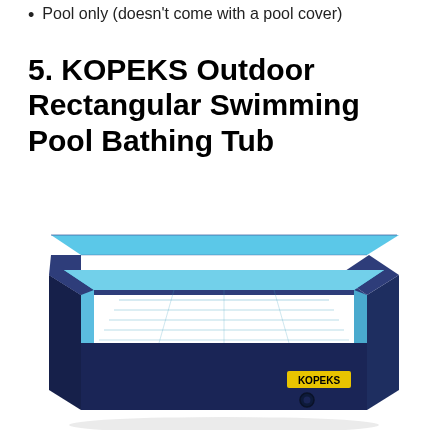Pool only (doesn't come with a pool cover)
5. KOPEKS Outdoor Rectangular Swimming Pool Bathing Tub
[Figure (photo): A rectangular outdoor swimming pool / bathing tub with a dark navy blue exterior body, light blue interior lining, and a KOPEKS logo label in yellow on the front-right side. The pool has a drain plug visible on the lower front. The pool is shown in a 3/4 perspective view with what appears to be water inside.]